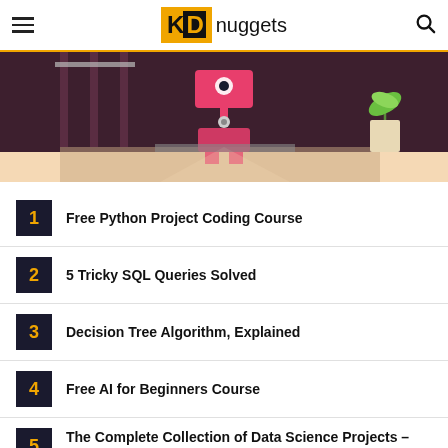KDnuggets
[Figure (illustration): Illustration of a robot or machine in a dark room with pink/red accents, a plant to the right, on a beige floor background.]
1 Free Python Project Coding Course
2 5 Tricky SQL Queries Solved
3 Decision Tree Algorithm, Explained
4 Free AI for Beginners Course
5 The Complete Collection of Data Science Projects – Part 2